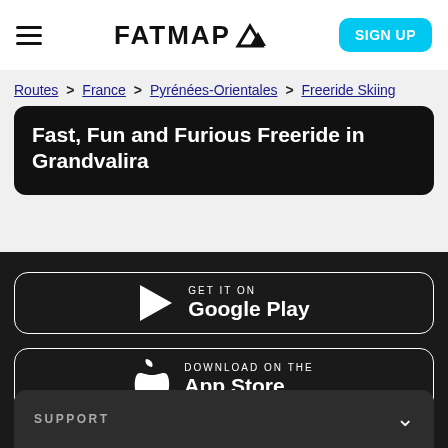FATMAP | SIGN UP
Routes > France > Pyrénées-Orientales > Freeride Skiing
Fast, Fun and Furious Freeride in Grandvalira
GET IT ON Google Play
DOWNLOAD ON THE App Store
SUPPORT